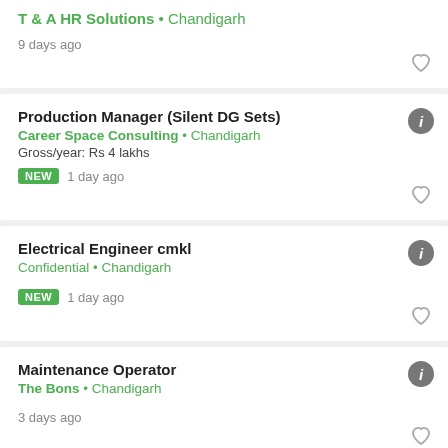T & A HR Solutions • Chandigarh
9 days ago
Production Manager (Silent DG Sets)
Career Space Consulting • Chandigarh
Gross/year: Rs 4 lakhs
NEW 1 day ago
Electrical Engineer cmkl
Confidential • Chandigarh
NEW 1 day ago
Maintenance Operator
The Bons • Chandigarh
3 days ago
Quality Analyst (Automation)
Uplers • Chandigarh